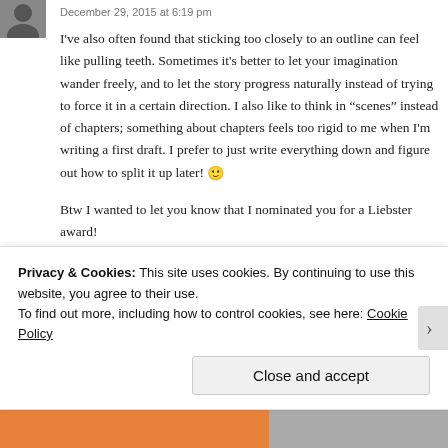[Figure (photo): User avatar thumbnail, dark/silhouette image in top left corner]
December 29, 2015 at 6:19 pm
I've also often found that sticking too closely to an outline can feel like pulling teeth. Sometimes it's better to let your imagination wander freely, and to let the story progress naturally instead of trying to force it in a certain direction. I also like to think in “scenes” instead of chapters; something about chapters feels too rigid to me when I'm writing a first draft. I prefer to just write everything down and figure out how to split it up later! 🙂
Btw I wanted to let you know that I nominated you for a Liebster award!
https://briaidrah.wordpress.com/2015/12/29/liebster-
Privacy & Cookies: This site uses cookies. By continuing to use this website, you agree to their use.
To find out more, including how to control cookies, see here: Cookie Policy
Close and accept